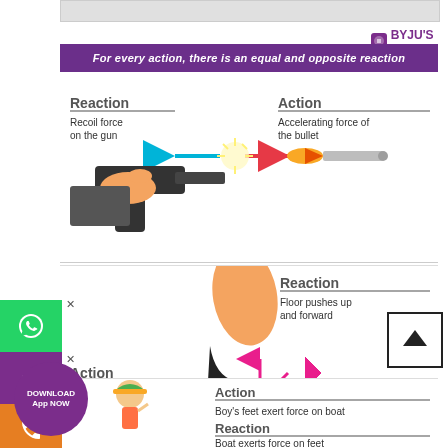[Figure (infographic): Newton's Third Law infographic by BYJU'S showing three examples: gun recoil (action: accelerating force of bullet, reaction: recoil force on gun), foot/heel on floor (action: foot pushes down and back, reaction: floor pushes up and forward), and boy in boat (action: boy's feet exert force on boat, reaction: boat exerts force on feet). Purple banner reads: For every action, there is an equal and opposite reaction.]
For every action, there is an equal and opposite reaction
Reaction
Recoil force on the gun
Action
Accelerating force of the bullet
Reaction
Floor pushes up and forward
Action
Foot pushes down and back
Action
Boy's feet exert force on boat
Reaction
Boat exerts force on feet